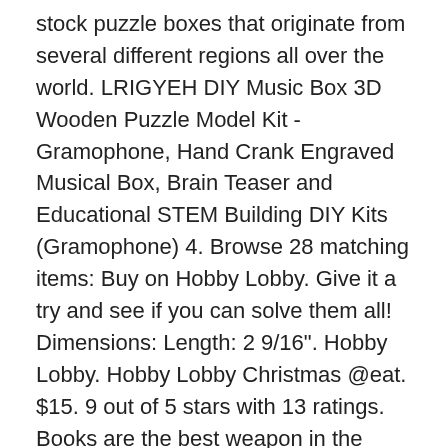stock puzzle boxes that originate from several different regions all over the world. LRIGYEH DIY Music Box 3D Wooden Puzzle Model Kit - Gramophone, Hand Crank Engraved Musical Box, Brain Teaser and Educational STEM Building DIY Kits (Gramophone) 4. Browse 28 matching items: Buy on Hobby Lobby. Give it a try and see if you can solve them all! Dimensions: Length: 2 9/16". Hobby Lobby. Hobby Lobby Christmas @eat. $15. 9 out of 5 stars with 13 ratings. Books are the best weapon in the world--they're also the perfect place to hide treasures. 4 out of 5 stars 377 $35. 79. Not only do we supply puzzles to test your mind